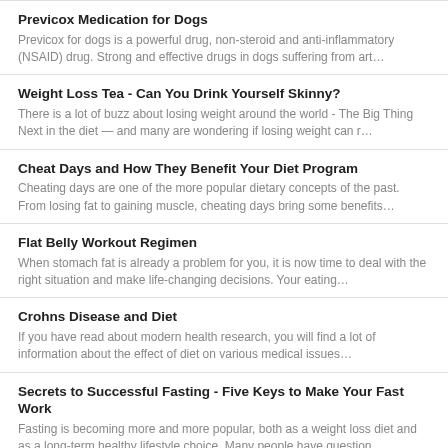Previcox Medication for Dogs
Previcox for dogs is a powerful drug, non-steroid and anti-inflammatory (NSAID) drug. Strong and effective drugs in dogs suffering from art…
Weight Loss Tea - Can You Drink Yourself Skinny?
There is a lot of buzz about losing weight around the world - The Big Thing Next in the diet — and many are wondering if losing weight can r…
Cheat Days and How They Benefit Your Diet Program
Cheating days are one of the more popular dietary concepts of the past. From losing fat to gaining muscle, cheating days bring some benefits…
Flat Belly Workout Regimen
When stomach fat is already a problem for you, it is now time to deal with the right situation and make life-changing decisions. Your eating…
Crohns Disease and Diet
If you have read about modern health research, you will find a lot of information about the effect of diet on various medical issues…
Secrets to Successful Fasting - Five Keys to Make Your Fast Work
Fasting is becoming more and more popular, both as a weight loss diet and as a long-term healthy lifestyle choice. Many people have question…